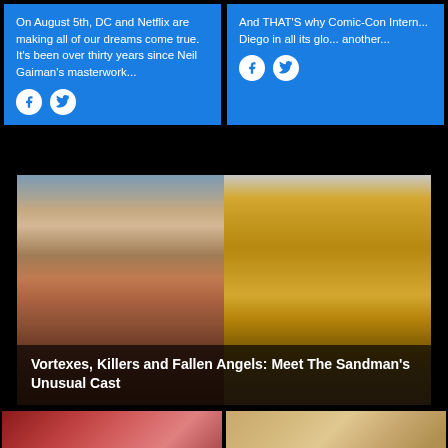On August 5th, DC and Netflix are making all of our dreams come true. It's been over thirty years since Neil Gaiman's masterwork...
And THAT'S why Comic-Con International San Diego in all its glory another...
[Figure (photo): Two women standing outdoors near a car with a historic building in background. Left woman has colorful dreadlocks and wears a beige sweater with pink vest. Right woman wears a mustard-yellow coat.]
Vortexes, Killers and Fallen Angels: Meet The Sandman's Unusual Cast
[Figure (photo): Bottom left partial image - appears to show a red-haired person]
[Figure (photo): Bottom right partial image - appears to show a person with lighter coloring]